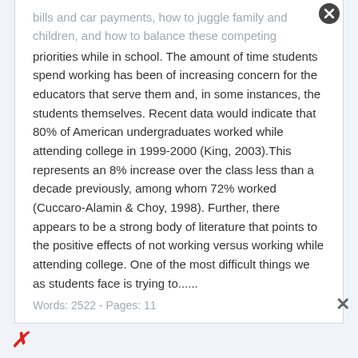bills and car payments, how to juggle family and children, and how to balance these competing priorities while in school. The amount of time students spend working has been of increasing concern for the educators that serve them and, in some instances, the students themselves. Recent data would indicate that 80% of American undergraduates worked while attending college in 1999-2000 (King, 2003).This represents an 8% increase over the class less than a decade previously, among whom 72% worked (Cuccaro-Alamin & Choy, 1998). Further, there appears to be a strong body of literature that points to the positive effects of not working versus working while attending college. One of the most difficult things we as students face is trying to......
Words: 2522 - Pages: 11